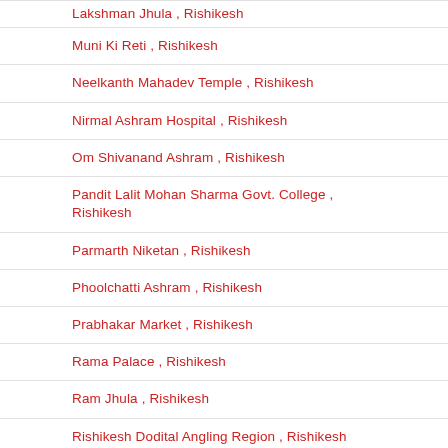Lakshman Jhula , Rishikesh
Muni Ki Reti , Rishikesh
Neelkanth Mahadev Temple , Rishikesh
Nirmal Ashram Hospital , Rishikesh
Om Shivanand Ashram , Rishikesh
Pandit Lalit Mohan Sharma Govt. College , Rishikesh
Parmarth Niketan , Rishikesh
Phoolchatti Ashram , Rishikesh
Prabhakar Market , Rishikesh
Rama Palace , Rishikesh
Ram Jhula , Rishikesh
Rishikesh Dodital Angling Region , Rishikesh